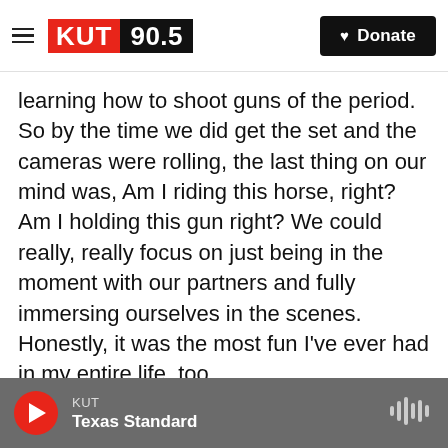KUT 90.5 | Donate
learning how to shoot guns of the period. So by the time we did get the set and the cameras were rolling, the last thing on our mind was, Am I riding this horse, right? Am I holding this gun right? We could really, really focus on just being in the moment with our partners and fully immersing ourselves in the scenes. Honestly, it was the most fun I've ever had in my entire life, too.
You're a Florida native, but you married a Texan. Had you been on a horse before this or was this all new stuff? I can't imagine that you'd had a chance to herd cattle before cowboy camp.
KUT | Texas Standard